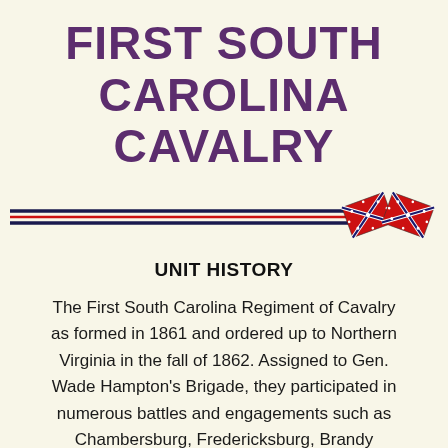FIRST SOUTH CAROLINA CAVALRY
[Figure (illustration): Decorative horizontal divider with triple lines (dark navy, red, dark navy) and two crossed Confederate battle flags on the right side.]
UNIT HISTORY
The First South Carolina Regiment of Cavalry as formed in 1861 and ordered up to Northern Virginia in the fall of 1862. Assigned to Gen. Wade Hampton's Brigade, they participated in numerous battles and engagements such as Chambersburg, Fredericksburg, Brandy